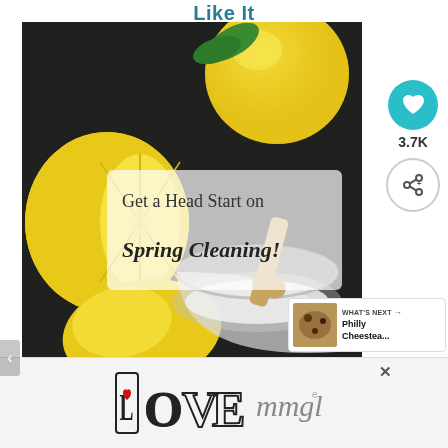Like It
[Figure (photo): Photo of lemons and a bowl of baking soda with a wooden scoop on a dark background. Overlaid text reads 'Get a Head Start on Spring Cleaning!' with a semi-transparent white banner. Watermark: TheLatinaHomemaker.com]
[Figure (infographic): Heart/like button (teal circle with heart icon) with count 3.7K and share button below]
[Figure (infographic): WHAT'S NEXT card showing Philly Cheesestea... with thumbnail]
[Figure (illustration): LOVE logo text in decorative/tattoo style black and white]
[Figure (logo): mmgl logo in italic serif font]